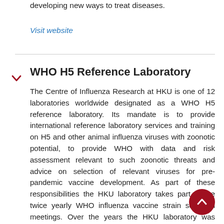developing new ways to treat diseases.
Visit website
WHO H5 Reference Laboratory
The Centre of Influenza Research at HKU is one of 12 laboratories worldwide designated as a WHO H5 reference laboratory. Its mandate is to provide international reference laboratory services and training on H5 and other animal influenza viruses with zoonotic potential, to provide WHO with data and risk assessment relevant to such zoonotic threats and advice on selection of relevant viruses for pre-pandemic vaccine development. As part of these responsibilities the HKU laboratory takes part in the twice yearly WHO influenza vaccine strain selection meetings. Over the years the HKU laboratory was involved in providing assistance and training countries such as Indonesia, Thailand, Vietnam, India, Sri Lanka, and Cambodia.